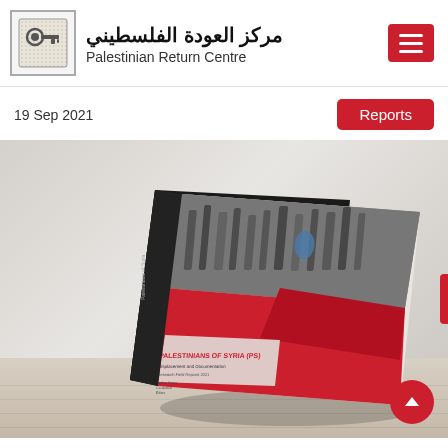مركز العودة الفلسطيني | Palestinian Return Centre
19 Sep 2021
Reports
[Figure (photo): A book titled 'Palestinians of Syria (PS)' with a red and black cover featuring a crowd photo, displayed at an angle on a white surface. The book cover reads 'PALESTINIANS OF SYRIA (PS)' with subtitle text about displacement and documentation.]